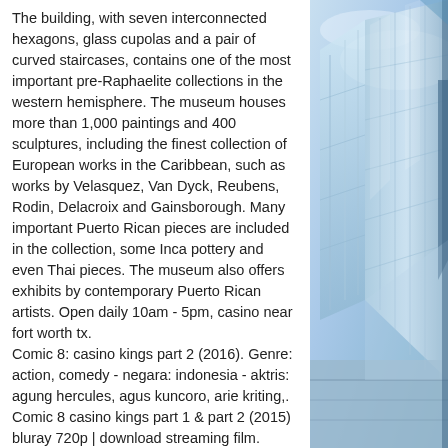The building, with seven interconnected hexagons, glass cupolas and a pair of curved staircases, contains one of the most important pre-Raphaelite collections in the western hemisphere. The museum houses more than 1,000 paintings and 400 sculptures, including the finest collection of European works in the Caribbean, such as works by Velasquez, Van Dyck, Reubens, Rodin, Delacroix and Gainsborough. Many important Puerto Rican pieces are included in the collection, some Inca pottery and even Thai pieces. The museum also offers exhibits by contemporary Puerto Rican artists. Open daily 10am - 5pm, casino near fort worth tx.
Comic 8: casino kings part 2 (2016). Genre: action, comedy - negara: indonesia - aktris: agung hercules, agus kuncoro, arie kriting,. Comic 8 casino kings part 1 &amp; part 2 (2015) bluray 720p | download streaming film. Comic 8 casino kings part 1 (2015)
[Figure (photo): Blue-tinted architectural photograph of a modern glass building with reflective surfaces and structural elements, shot from a low angle.]